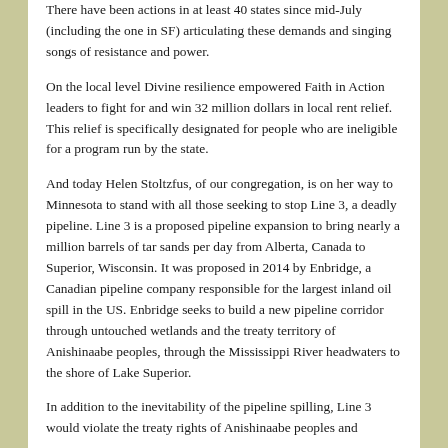There have been actions in at least 40 states since mid-July (including the one in SF) articulating these demands and singing songs of resistance and power.
On the local level Divine resilience empowered Faith in Action leaders to fight for and win 32 million dollars in local rent relief. This relief is specifically designated for people who are ineligible for a program run by the state.
And today Helen Stoltzfus, of our congregation, is on her way to Minnesota to stand with all those seeking to stop Line 3, a deadly pipeline. Line 3 is a proposed pipeline expansion to bring nearly a million barrels of tar sands per day from Alberta, Canada to Superior, Wisconsin. It was proposed in 2014 by Enbridge, a Canadian pipeline company responsible for the largest inland oil spill in the US. Enbridge seeks to build a new pipeline corridor through untouched wetlands and the treaty territory of Anishinaabe peoples, through the Mississippi River headwaters to the shore of Lake Superior.
In addition to the inevitability of the pipeline spilling, Line 3 would violate the treaty rights of Anishinaabe peoples and